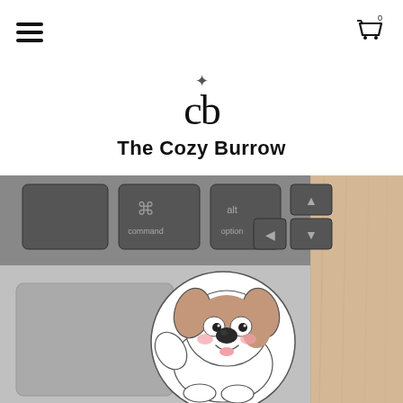[Figure (screenshot): Navigation bar with hamburger menu icon on left and shopping cart icon with badge on right]
[Figure (logo): The Cozy Burrow logo: stylized 'cb' with a small asterisk/star above]
The Cozy Burrow
[Figure (photo): Photo of a MacBook laptop keyboard with a cute cartoon Shih Tzu dog sticker placed on the palm rest area. The sticker shows a white and brown fluffy puppy waving. A wooden surface is visible to the right.]